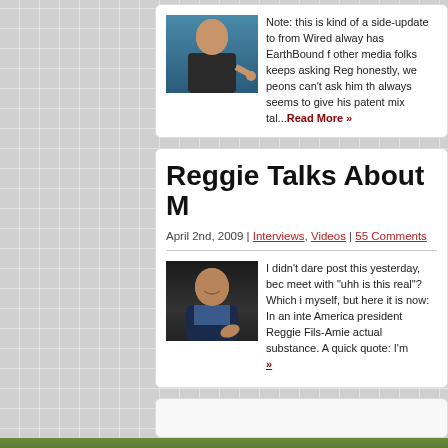[Figure (photo): Photo of Reggie Fils-Aime pointing at the camera, wearing a suit, at what appears to be a Nintendo event]
Note: this is kind of a side-update to from Wired alway has EarthBound f other media folks keeps asking Reg honestly, we peons can't ask him th always seems to give his patent mix tal...Read More »
Reggie Talks About M
April 2nd, 2009 | Interviews, Videos | 55 Comments
[Figure (photo): Photo of Reggie Fils-Aime smiling, wearing a blue shirt and dark jacket, gesturing with his hand]
I didn't dare post this yesterday, bec meet with "uhh is this real"? Which i myself, but here it is now: In an inte America president Reggie Fils-Amie actual substance. A quick quote: I'm »